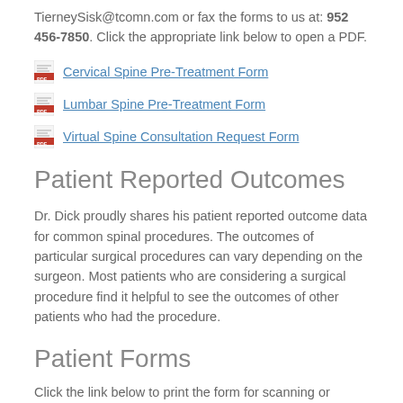TierneySisk@tcomn.com or fax the forms to us at: 952 456-7850. Click the appropriate link below to open a PDF.
Cervical Spine Pre-Treatment Form
Lumbar Spine Pre-Treatment Form
Virtual Spine Consultation Request Form
Patient Reported Outcomes
Dr. Dick proudly shares his patient reported outcome data for common spinal procedures. The outcomes of particular surgical procedures can vary depending on the surgeon. Most patients who are considering a surgical procedure find it helpful to see the outcomes of other patients who had the procedure.
Patient Forms
Click the link below to print the form for scanning or